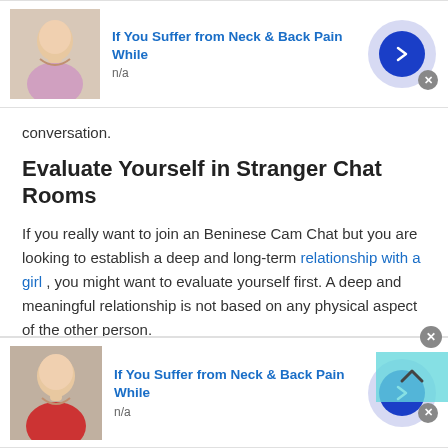[Figure (other): Advertisement banner: 'If You Suffer from Neck & Back Pain While', n/a, with woman touching neck image and blue arrow button]
conversation.
Evaluate Yourself in Stranger Chat Rooms
If you really want to join an Beninese Cam Chat but you are looking to establish a deep and long-term relationship with a girl , you might want to evaluate yourself first. A deep and meaningful relationship is not based on any physical aspect of the other person.
If you feel like people only speak to you because of your
[Figure (other): Advertisement banner: 'If You Suffer from Neck & Back Pain While', n/a, with elderly woman touching neck image and blue arrow button]